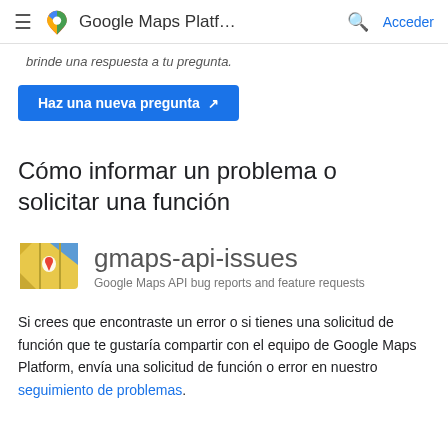≡  Google Maps Platf…  🔍  Acceder
brinde una respuesta a tu pregunta.
Haz una nueva pregunta ↗
Cómo informar un problema o solicitar una función
[Figure (logo): GitHub gmaps-api-issues logo with map icon and text: gmaps-api-issues Google Maps API bug reports and feature requests]
Si crees que encontraste un error o si tienes una solicitud de función que te gustaría compartir con el equipo de Google Maps Platform, envía una solicitud de función o error en nuestro seguimiento de problemas.